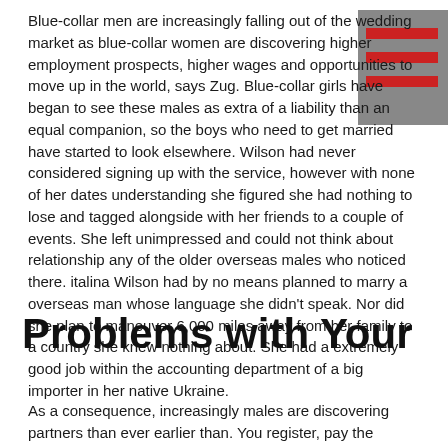Blue-collar men are increasingly falling out of the wedding market as blue-collar women are discovering higher employment prospects, higher wages and opportunities to move up in the world, says Zug. Blue-collar girls have began to see these males as extra of a liability than an equal companion, so the boys who need to get married have started to look elsewhere. Wilson had never considered signing up with the service, however with none of her dates understanding she figured she had nothing to lose and tagged alongside with her friends to a couple of events. She left unimpressed and could not think about relationship any of the older overseas males who noticed there. italina Wilson had by no means planned to marry a overseas man whose language she didn't speak. Nor did she plan to maneuver 6,000 miles away from her family to a country she knew nothing about. She had a extremely good job within the accounting department of a big importer in her native Ukraine.
Problems with Your
As a consequence, increasingly males are discovering partners than ever earlier than. You register, pay the charge, and the service